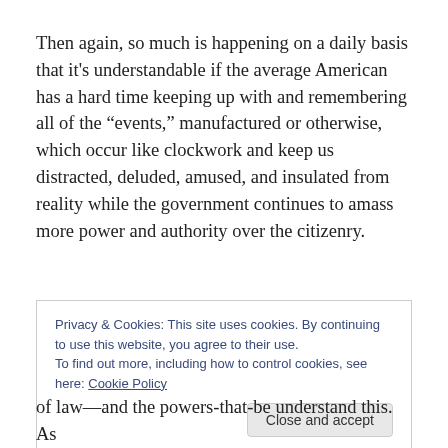Then again, so much is happening on a daily basis that it's understandable if the average American has a hard time keeping up with and remembering all of the “events,” manufactured or otherwise, which occur like clockwork and keep us distracted, deluded, amused, and insulated from reality while the government continues to amass more power and authority over the citizenry.
Privacy & Cookies: This site uses cookies. By continuing to use this website, you agree to their use. To find out more, including how to control cookies, see here: Cookie Policy
Close and accept
of law—and the powers-that-be understand this. As